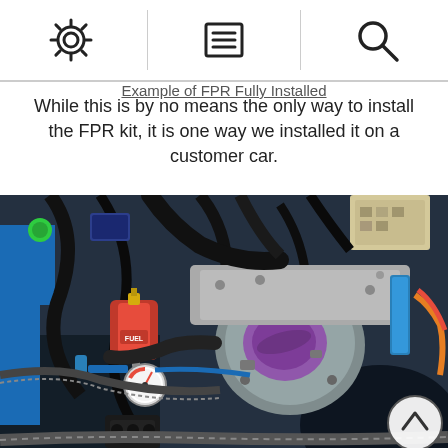Settings | Menu | Search icons
While this is by no means the only way to install the FPR kit, it is one way we installed it on a customer car.
[Figure (photo): Engine bay photo showing a red fuel pressure regulator (FPR) labeled 'FUEL' with a pressure gauge mounted next to it, blue braided fuel lines, and a large throttle body on a modified engine, installed on a customer car.]